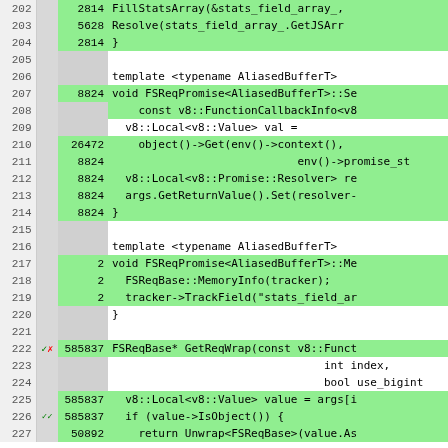[Figure (screenshot): Code coverage viewer showing C++ source lines 202-227 with line numbers, execution counts, markers, and code snippets. Green highlighted rows indicate covered lines. Lines shown include FillStatsArray, Resolve, template typename AliasedBufferT, FSReqPromise methods, GetReqWrap function.]